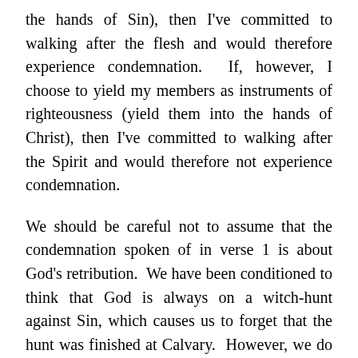the hands of Sin), then I've committed to walking after the flesh and would therefore experience condemnation. If, however, I choose to yield my members as instruments of righteousness (yield them into the hands of Christ), then I've committed to walking after the Spirit and would therefore not experience condemnation.
We should be careful not to assume that the condemnation spoken of in verse 1 is about God's retribution. We have been conditioned to think that God is always on a witch-hunt against Sin, which causes us to forget that the hunt was finished at Calvary. However, we do know that Sin sins and when Sin is finished, it leaves nothing but a trail of death. Sin has no problem